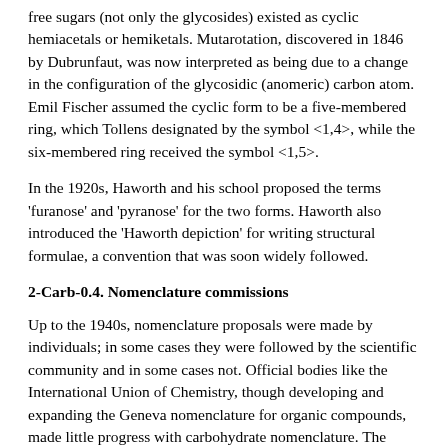free sugars (not only the glycosides) existed as cyclic hemiacetals or hemiketals. Mutarotation, discovered in 1846 by Dubrunfaut, was now interpreted as being due to a change in the configuration of the glycosidic (anomeric) carbon atom. Emil Fischer assumed the cyclic form to be a five-membered ring, which Tollens designated by the symbol <1,4>, while the six-membered ring received the symbol <1,5>.
In the 1920s, Haworth and his school proposed the terms 'furanose' and 'pyranose' for the two forms. Haworth also introduced the 'Haworth depiction' for writing structural formulae, a convention that was soon widely followed.
2-Carb-0.4. Nomenclature commissions
Up to the 1940s, nomenclature proposals were made by individuals; in some cases they were followed by the scientific community and in some cases not. Official bodies like the International Union of Chemistry, though developing and expanding the Geneva nomenclature for organic compounds, made little progress with carbohydrate nomenclature. The IUPAC Commission on Nomenclature of Biological Chemistry put forward a classification scheme for carbohydrates, but the new terms proposed have not survived. However in 1939 the American Chemical Society (ACS) formed a committee to look into this